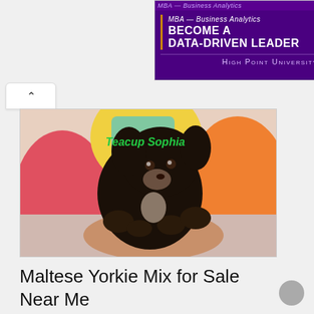[Figure (screenshot): Advertisement banner for High Point University MBA Business Analytics program with purple background, orange learn more button, and university name at bottom]
[Figure (photo): A small black teacup puppy (Maltese Yorkie mix) being held in a hand, with colorful balloons in the background. Text overlay reads 'Teacup Sophia' in green italic font.]
Maltese Yorkie Mix for Sale Near Me